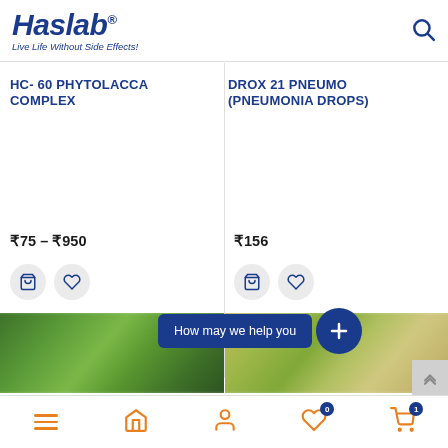Haslab® Live Life Without Side Effects!
HC- 60 PHYTOLACCA COMPLEX
DROX 21 PNEUMO (PNEUMONIA DROPS)
₹75 – ₹950
₹156
[Figure (screenshot): Shopping cart and wishlist icon buttons for HC-60 product]
[Figure (screenshot): Shopping cart and wishlist icon buttons for DROX 21 product]
[Figure (photo): Green blurred nature/forest photo for HC-60 product card]
[Figure (photo): Green/golden blurred nature/bamboo photo for DROX 21 product card]
How may we help you
Navigation bar with menu, home, profile, wishlist (0), cart (1) icons